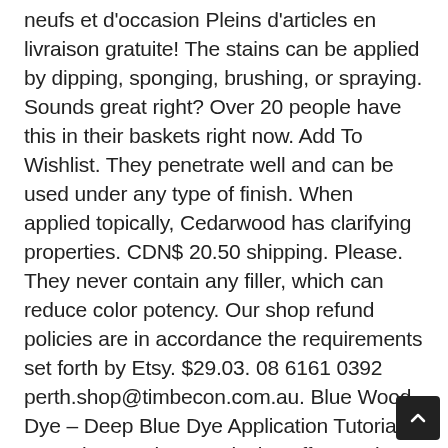neufs et d'occasion Pleins d'articles en livraison gratuite! The stains can be applied by dipping, sponging, brushing, or spraying. Sounds great right? Over 20 people have this in their baskets right now. Add To Wishlist. They penetrate well and can be used under any type of finish. When applied topically, Cedarwood has clarifying properties. CDN$ 20.50 shipping. Please. They never contain any filler, which can reduce color potency. Our shop refund policies are in accordance the requirements set forth by Etsy. $29.03. 08 6161 0392 perth.shop@timbecon.com.au. Blue Wood Dye – Deep Blue Dye Application Tutorial – YouTube Send me exclusive offers, unique gift ideas, and personalised tips for shopping and selling on Etsy. Usually ships within 4 to 5 days. Add To Compare. Ounce per ounce, our liquid dyes may be the most color-potent wood dye liquid on the market. This wood dye option mixes with solvents such as: Ensure you're getting the best possible results by using our application tips. Throughout our years in business, we've taken steps to reduce our carbon footprint however we can. Shellac is